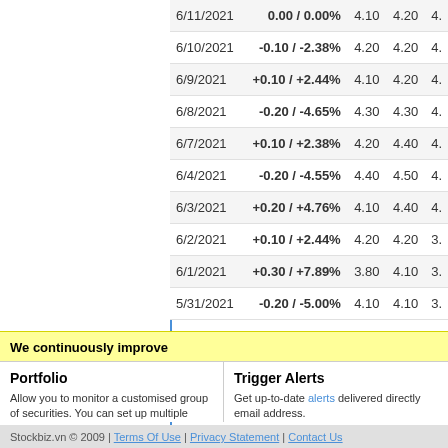| Date | Change | Col3 | Col4 | Col5 |
| --- | --- | --- | --- | --- |
| 6/11/2021 | 0.00 / 0.00% | 4.10 | 4.20 | 4. |
| 6/10/2021 | -0.10 / -2.38% | 4.20 | 4.20 | 4. |
| 6/9/2021 | +0.10 / +2.44% | 4.10 | 4.20 | 4. |
| 6/8/2021 | -0.20 / -4.65% | 4.30 | 4.30 | 4. |
| 6/7/2021 | +0.10 / +2.38% | 4.20 | 4.40 | 4. |
| 6/4/2021 | -0.20 / -4.55% | 4.40 | 4.50 | 4. |
| 6/3/2021 | +0.20 / +4.76% | 4.10 | 4.40 | 4. |
| 6/2/2021 | +0.10 / +2.44% | 4.20 | 4.20 | 3. |
| 6/1/2021 | +0.30 / +7.89% | 3.80 | 4.10 | 3. |
| 5/31/2021 | -0.20 / -5.00% | 4.10 | 4.10 | 3. |
We continuously improve
Portfolio
Allow you to monitor a customised group of securities. You can set up multiple Portfolios to help you better manage your investments.
Trigger Alerts
Get up-to-date alerts delivered directly email address.
Stockbiz.vn © 2009 | Terms Of Use | Privacy Statement | Contact Us